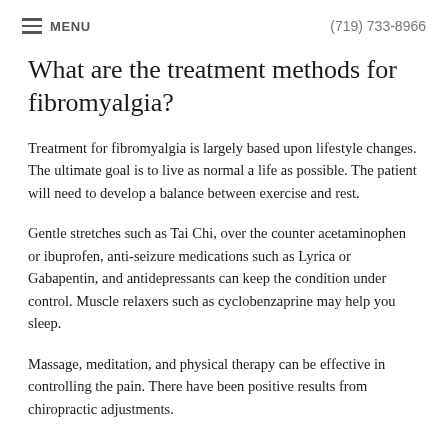MENU   (719) 733-8966
What are the treatment methods for fibromyalgia?
Treatment for fibromyalgia is largely based upon lifestyle changes. The ultimate goal is to live as normal a life as possible. The patient will need to develop a balance between exercise and rest.
Gentle stretches such as Tai Chi, over the counter acetaminophen or ibuprofen, anti-seizure medications such as Lyrica or Gabapentin, and antidepressants can keep the condition under control. Muscle relaxers such as cyclobenzaprine may help you sleep.
Massage, meditation, and physical therapy can be effective in controlling the pain. There have been positive results from chiropractic adjustments.